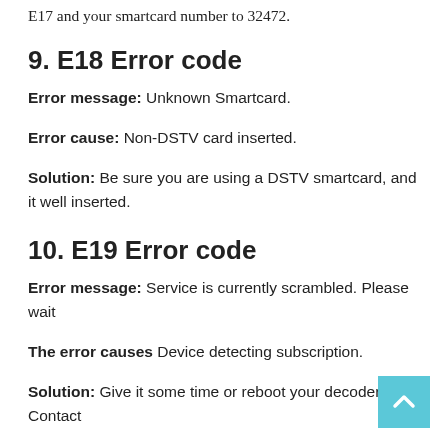E17 and your smartcard number to 32472.
9. E18 Error code
Error message: Unknown Smartcard.
Error cause: Non-DSTV card inserted.
Solution: Be sure you are using a DSTV smartcard, and it well inserted.
10. E19 Error code
Error message: Service is currently scrambled. Please wait
The error causes Device detecting subscription.
Solution: Give it some time or reboot your decoder. Contact